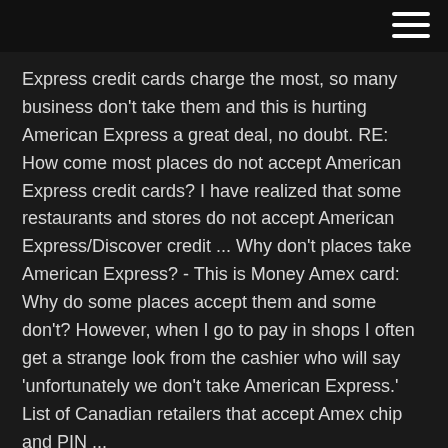Express credit cards charge the most, so many business don't take them and this is hurting American Express a great deal, no doubt. RE: How come most places do not accept American Express credit cards? I have realized that some restaurants and stores do not accept American Express/Discover credit ... Why don't places take American Express? - This is Money Amex card: Why do some places accept them and some don't? However, when I go to pay in shops I often get a strange look from the cashier who will say 'unfortunately we don't take American Express.' List of Canadian retailers that accept Amex chip and PIN ...